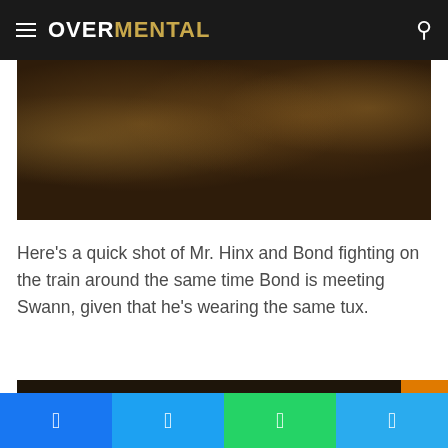OVERMENTAL
[Figure (photo): Dark scene showing two figures fighting on a train, with warm amber lighting from lanterns in the background]
Here's a quick shot of Mr. Hinx and Bond fighting on the train around the same time Bond is meeting Swann, given that he's wearing the same tux.
[Figure (photo): Close-up of a person's face in a dark, warm-toned setting]
Facebook | Twitter | WhatsApp | Telegram